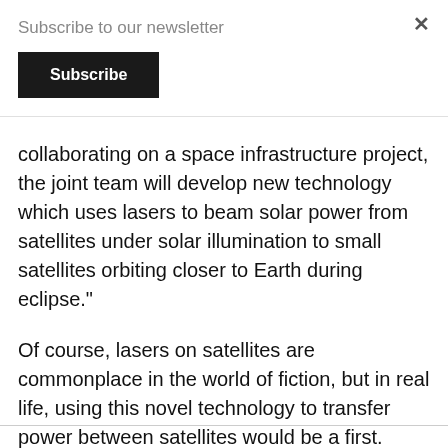Subscribe to our newsletter
Subscribe
collaborating on a space infrastructure project, the joint team will develop new technology which uses lasers to beam solar power from satellites under solar illumination to small satellites orbiting closer to Earth during eclipse."
Of course, lasers on satellites are commonplace in the world of fiction, but in real life, using this novel technology to transfer power between satellites would be a first.